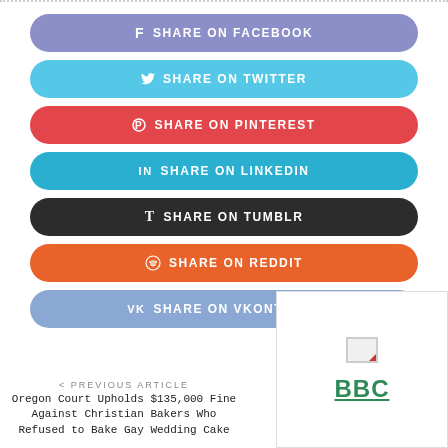[Figure (infographic): Social media share buttons: Facebook (purple), Twitter (light blue), Pinterest (red), LinkedIn (teal), Tumblr (black), Reddit (orange), VKontakte (steel blue)]
< PREVIOUS ARTICLE
Oregon Court Upholds $135,000 Fine Against Christian Bakers Who Refused to Bake Gay Wedding Cake
[Figure (logo): BBC logo in green with a broken image icon above it]